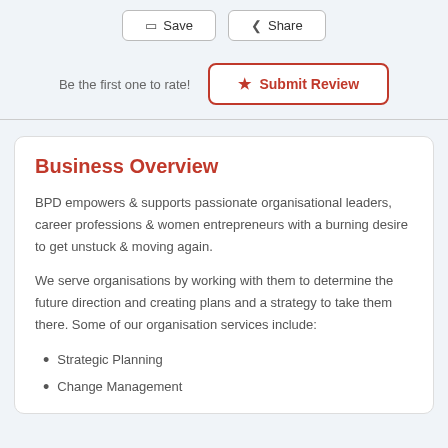Save | Share
Be the first one to rate!
Submit Review
Business Overview
BPD empowers & supports passionate organisational leaders, career professions & women entrepreneurs with a burning desire to get unstuck & moving again.
We serve organisations by working with them to determine the future direction and creating plans and a strategy to take them there. Some of our organisation services include:
Strategic Planning
Change Management